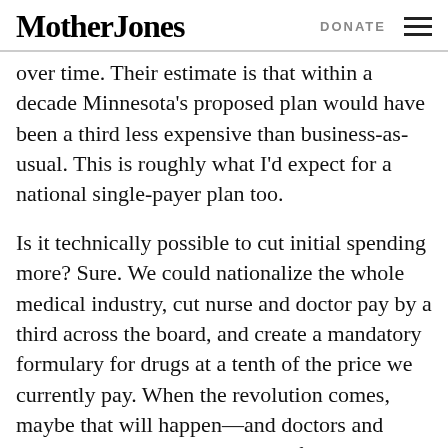Mother Jones | DONATE
over time. Their estimate is that within a decade Minnesota's proposed plan would have been a third less expensive than business-as-usual. This is roughly what I'd expect for a national single-payer plan too.
Is it technically possible to cut initial spending more? Sure. We could nationalize the whole medical industry, cut nurse and doctor pay by a third across the board, and create a mandatory formulary for drugs at a tenth of the price we currently pay. When the revolution comes, maybe that will happen—and doctors and pharma executives will be grateful we didn't just take them out and shoot them. In the meantime, I'm more interested in real-world